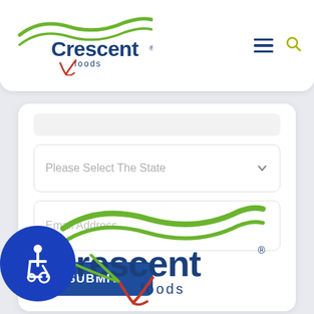[Figure (logo): Crescent Foods logo with green wave and red checkmark in top navigation bar]
[Figure (screenshot): Web form with state dropdown showing 'Please Select The State', email address input field, and blue SUBMIT button]
[Figure (logo): Crescent Foods footer logo with green wave, red checkmark, and accessibility icon (wheelchair symbol in blue circle)]